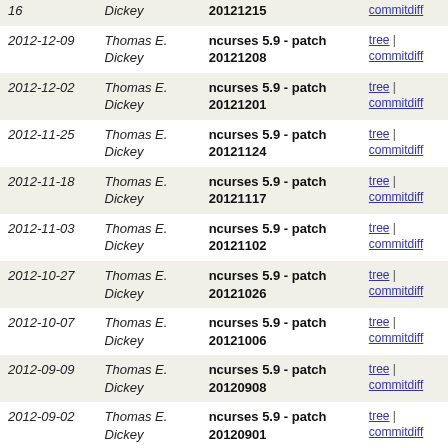| Date | Author | Commit | Links |
| --- | --- | --- | --- |
| 16 | Dickey | 20121215 | tree | commitdiff |
| 2012-12-09 | Thomas E. Dickey | ncurses 5.9 - patch 20121208 | tree | commitdiff |
| 2012-12-02 | Thomas E. Dickey | ncurses 5.9 - patch 20121201 | tree | commitdiff |
| 2012-11-25 | Thomas E. Dickey | ncurses 5.9 - patch 20121124 | tree | commitdiff |
| 2012-11-18 | Thomas E. Dickey | ncurses 5.9 - patch 20121117 | tree | commitdiff |
| 2012-11-03 | Thomas E. Dickey | ncurses 5.9 - patch 20121102 | tree | commitdiff |
| 2012-10-27 | Thomas E. Dickey | ncurses 5.9 - patch 20121026 | tree | commitdiff |
| 2012-10-07 | Thomas E. Dickey | ncurses 5.9 - patch 20121006 | tree | commitdiff |
| 2012-09-09 | Thomas E. Dickey | ncurses 5.9 - patch 20120908 | tree | commitdiff |
| 2012-09-02 | Thomas E. Dickey | ncurses 5.9 - patch 20120901 | tree | commitdiff |
| 2012-08-12 | Thomas E. Dickey | ncurses 5.9 - patch 20120811 | tree | commitdiff |
| 2012-08-04 | Thomas E. Dickey | ncurses 5.9 - patch 20120804 | tree | commitdiff |
| 2012-07-22 | Thomas E. Dickey | ncurses 5.9 - patch 20120721 | tree | commitdiff |
| 2012-07-07 | Thomas E. Dickey | ncurses 5.9 - patch 20120707 | tree | commitdiff |